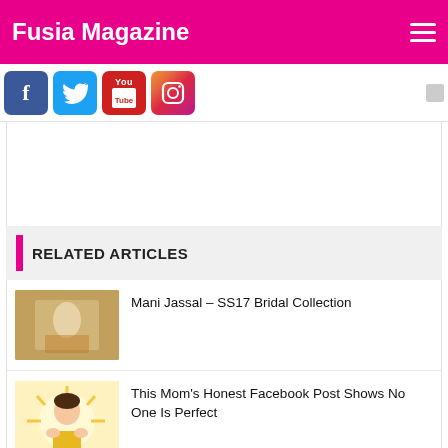Fusia Magazine
[Figure (infographic): Social media icons: Facebook, Twitter, YouTube, Instagram]
RELATED ARTICLES
[Figure (photo): Mani Jassal SS17 Bridal Collection thumbnail]
Mani Jassal – SS17 Bridal Collection
[Figure (illustration): Mom illustration for Facebook post article]
This Mom's Honest Facebook Post Shows No One Is Perfect
[Figure (illustration): Cultural fashion illustration thumbnail]
Cultural Appreciation & Appropriation in Fashion – Getting It Right